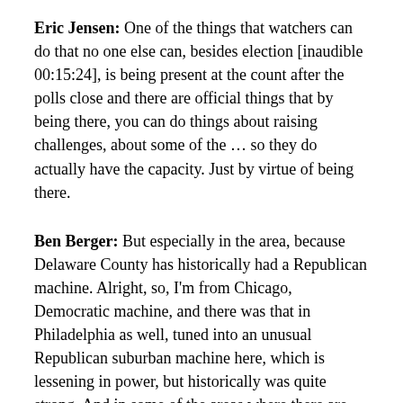Eric Jensen: One of the things that watchers can do that no one else can, besides election [inaudible 00:15:24], is being present at the count after the polls close and there are official things that by being there, you can do things about raising challenges, about some of the ... so they do actually have the capacity. Just by virtue of being there.
Ben Berger: But especially in the area, because Delaware County has historically had a Republican machine. Alright, so, I'm from Chicago, Democratic machine, and there was that in Philadelphia as well, tuned into an unusual Republican suburban machine here, which is lessening in power, but historically was quite strong. And in some of the areas where there are very strong party remnants, though, I've been a poll watcher where people have done just kind of checking off you're talking about, and then